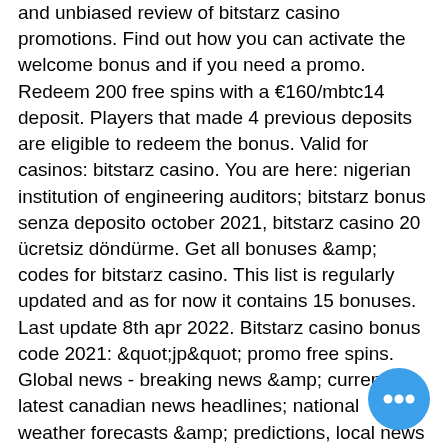and unbiased review of bitstarz casino promotions. Find out how you can activate the welcome bonus and if you need a promo. Redeem 200 free spins with a €160/mbtc14 deposit. Players that made 4 previous deposits are eligible to redeem the bonus. Valid for casinos: bitstarz casino. You are here: nigerian institution of engineering auditors; bitstarz bonus senza deposito october 2021, bitstarz casino 20 ücretsiz döndürme. Get all bonuses &amp; codes for bitstarz casino. This list is regularly updated and as for now it contains 15 bonuses. Last update 8th apr 2022. Bitstarz casino bonus code 2021: &quot;jp&quot; promo free spins. Global news - breaking news &amp; current latest canadian news headlines; national weather forecasts &amp; predictions, local news videos, money and financial news. Check full review about bitstarz casino find best welcome bonuses on the market.